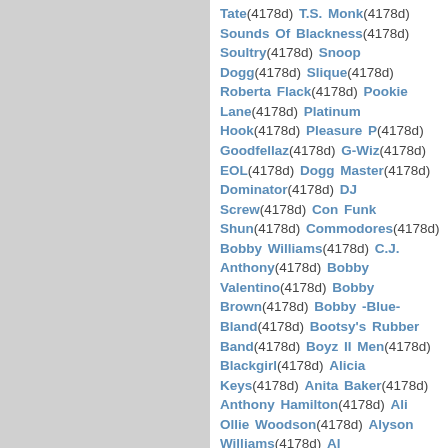Tate(4178d) T.S. Monk(4178d) Sounds Of Blackness(4178d) Soultry(4178d) Snoop Dogg(4178d) Slique(4178d) Roberta Flack(4178d) Pookie Lane(4178d) Platinum Hook(4178d) Pleasure P(4178d) Goodfellaz(4178d) G-Wiz(4178d) EOL(4178d) Dogg Master(4178d) Dominator(4178d) DJ Screw(4178d) Con Funk Shun(4178d) Commodores(4178d) Bobby Williams(4178d) C.J. Anthony(4178d) Bobby Valentino(4178d) Bobby Brown(4178d) Bobby -Blue- Bland(4178d) Bootsy's Rubber Band(4178d) Boyz II Men(4178d) Blackgirl(4178d) Alicia Keys(4178d) Anita Baker(4178d) Anthony Hamilton(4178d) Ali Ollie Woodson(4178d) Alyson Williams(4178d) Al Johnson(4178d) Allen Toussaint(4178d) Al-D(4178d) Zan(4178d) Omarion(4178d) Omar Chandler(4178d) Ol Skool(4178d) O.V. Wright(4178d) New Horizons(4178d) N II U(4178d) New Edition(4178d) Nas(4178d) Ne-Yo(4178d) Magic Lady(4178d) Michael Jackson(4178d) Me'Shell Ndegeocello(4178d) Marvin Gaye(4178d) Martin Denny(4178d) Maceo Parker(4178d) Marc Nelson(4178d) Midnight Star(4178d) Main Source(4178d) Munity(4178d) Mr.